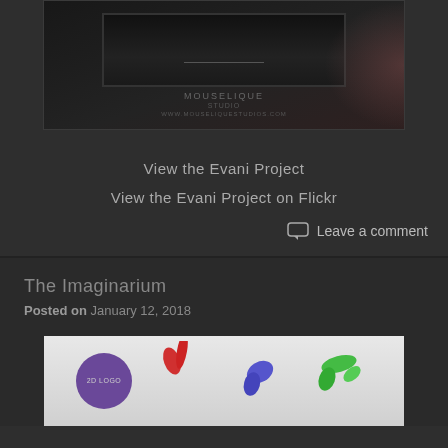[Figure (photo): Dark studio branding image with monitor/screen element showing MOUSELIQUE STUDIO text and website URL, with a pink/rose gradient glow on the right side]
View the Evani Project
View the Evani Project on Flickr
Leave a comment
The Imaginarium
Posted on January 12, 2018
[Figure (illustration): Light grey background image showing a purple circular 2D LOGO badge on the left, colorful paint splat shapes in red, purple/blue, and green in the center and right]